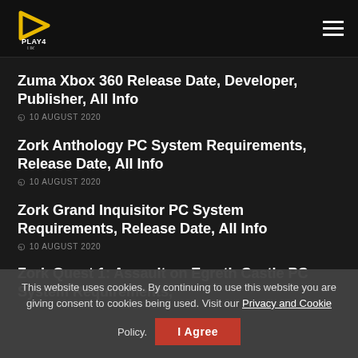PLAY4UK
Zuma Xbox 360 Release Date, Developer, Publisher, All Info
10 AUGUST 2020
Zork Anthology PC System Requirements, Release Date, All Info
10 AUGUST 2020
Zork Grand Inquisitor PC System Requirements, Release Date, All Info
10 AUGUST 2020
Zork Quest 1: Assault on Egreth Castle PC System Requirements,
This website uses cookies. By continuing to use this website you are giving consent to cookies being used. Visit our Privacy and Cookie Policy.
I Agree